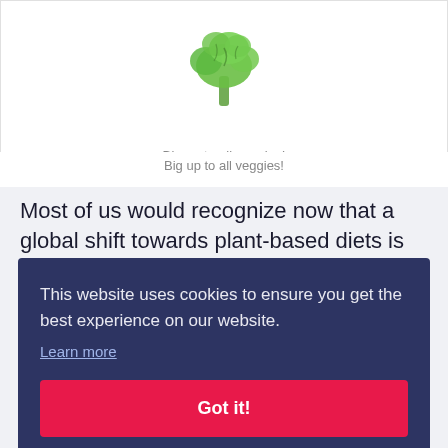[Figure (photo): A broccoli or green vegetable piece photographed from above against a white background, partially cropped at top.]
Big up to all veggies!
Most of us would recognize now that a global shift towards plant-based diets is crucial for
This website uses cookies to ensure you get the best experience on our website. Learn more Got it!
hen.